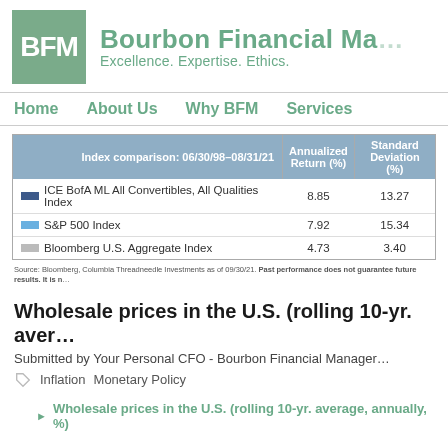BFM Bourbon Financial Management — Excellence. Expertise. Ethics.
Home  About Us  Why BFM  Services
| Index comparison: 06/30/98–08/31/21 | Annualized Return (%) | Standard Deviation (%) |
| --- | --- | --- |
| ICE BofA ML All Convertibles, All Qualities Index | 8.85 | 13.27 |
| S&P 500 Index | 7.92 | 15.34 |
| Bloomberg U.S. Aggregate Index | 4.73 | 3.40 |
Source: Bloomberg, Columbia Threadneedle Investments as of 09/30/21. Past performance does not guarantee future results. It is n...
Wholesale prices in the U.S. (rolling 10-yr. aver…
Submitted by Your Personal CFO - Bourbon Financial Manager…
Inflation    Monetary Policy
▶ Wholesale prices in the U.S. (rolling 10-yr. average, annually, %)